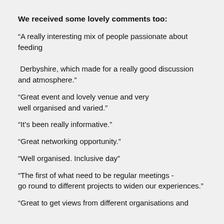We received some lovely comments too:
“A really interesting mix of people passionate about feeding

 Derbyshire, which made for a really good discussion and atmosphere.”
“Great event and lovely venue and very well organised and varied.”
“It’s been really informative.”
“Great networking opportunity.”
“Well organised. Inclusive day”
“The first of what need to be regular meetings - go round to different projects to widen our experiences.”
“Great to get views from different organisations and